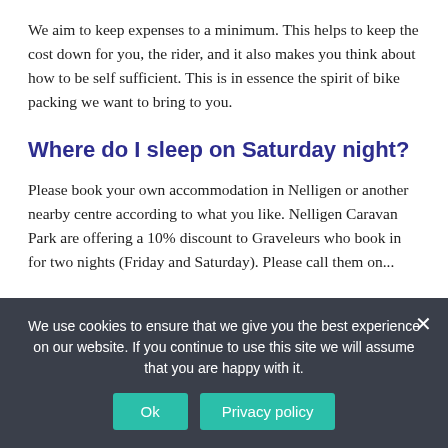We aim to keep expenses to a minimum. This helps to keep the cost down for you, the rider, and it also makes you think about how to be self sufficient. This is in essence the spirit of bike packing we want to bring to you.
Where do I sleep on Saturday night?
Please book your own accommodation in Nelligen or another nearby centre according to what you like. Nelligen Caravan Park are offering a 10% discount to Graveleurs who book in for two nights (Friday and Saturday). Please call them on...
We use cookies to ensure that we give you the best experience on our website. If you continue to use this site we will assume that you are happy with it.